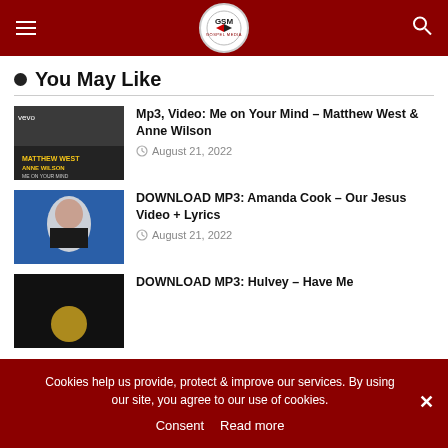Gospel Media (GSM) header with logo, menu, and search
● You May Like
Mp3, Video: Me on Your Mind – Matthew West & Anne Wilson
August 21, 2022
DOWNLOAD MP3: Amanda Cook – Our Jesus Video + Lyrics
August 21, 2022
DOWNLOAD MP3: Hulvey – Have Me
Cookies help us provide, protect & improve our services. By using our site, you agree to our use of cookies.
Consent  Read more